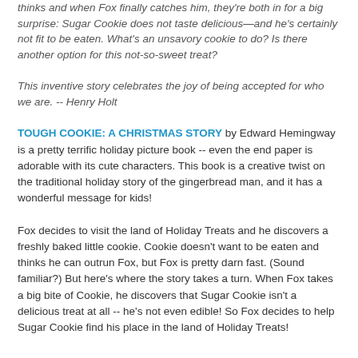thinks and when Fox finally catches him, they're both in for a big surprise: Sugar Cookie does not taste delicious—and he's certainly not fit to be eaten. What's an unsavory cookie to do? Is there another option for this not-so-sweet treat?
This inventive story celebrates the joy of being accepted for who we are. -- Henry Holt
TOUGH COOKIE: A CHRISTMAS STORY by Edward Hemingway is a pretty terrific holiday picture book -- even the end paper is adorable with its cute characters. This book is a creative twist on the traditional holiday story of the gingerbread man, and it has a wonderful message for kids!
Fox decides to visit the land of Holiday Treats and he discovers a freshly baked little cookie. Cookie doesn't want to be eaten and thinks he can outrun Fox, but Fox is pretty darn fast. (Sound familiar?) But here's where the story takes a turn. When Fox takes a big bite of Cookie, he discovers that Sugar Cookie isn't a delicious treat at all -- he's not even edible! So Fox decides to help Sugar Cookie find his place in the land of Holiday Treats!